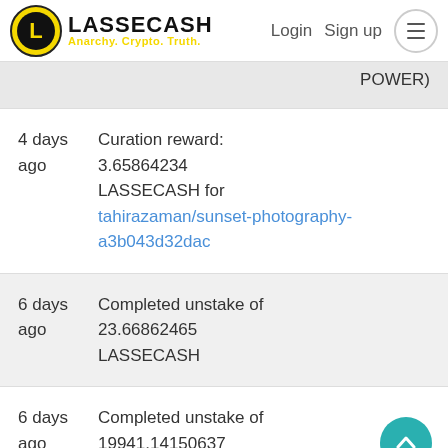LASSECASH — Anarchy. Crypto. Truth. | Login | Sign up
POWER)
4 days ago	Curation reward: 3.65864234 LASSECASH for tahirazaman/sunset-photography-a3b043d32dac
6 days ago	Completed unstake of 23.66862465 LASSECASH
6 days ago	Completed unstake of 19941.14150637 LASSECASH